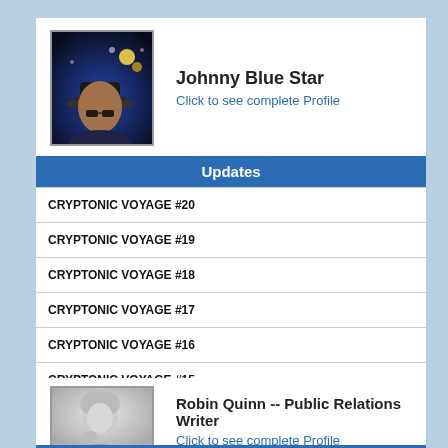[Figure (photo): Profile photo of Johnny Blue Star, person wearing hat against dark background with lights]
Johnny Blue Star
Click to see complete Profile
Updates
CRYPTONIC VOYAGE #20
CRYPTONIC VOYAGE #19
CRYPTONIC VOYAGE #18
CRYPTONIC VOYAGE #17
CRYPTONIC VOYAGE #16
CRYPTONIC VOYAGE #15
Topics:
[Figure (photo): Profile photo of Robin Quinn, woman with light hair in black and white]
Robin Quinn -- Public Relations Writer
Click to see complete Profile